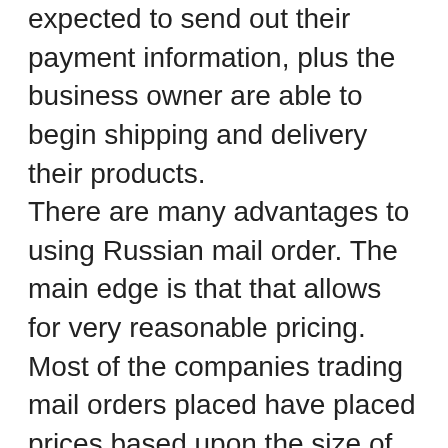expected to send out their payment information, plus the business owner are able to begin shipping and delivery their products. There are many advantages to using Russian mail order. The main edge is that that allows for very reasonable pricing. Most of the companies trading mail orders placed have placed prices based upon the size of their business. Since they have fewer employees, the cost of their solutions is lower. They are also qualified to focus more on being sure the products that they provide are of good quality. These companies likewise supply free of charge tracking figures for the consumer to ensure that their very own order is being delivered with the scheduled period. While Russian mail